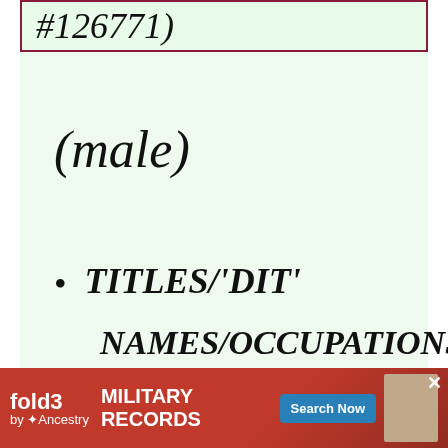#126771)
(male)
TITLES/'DIT'
NAMES/OCCUPATIONS minister
BAPTISM: 3